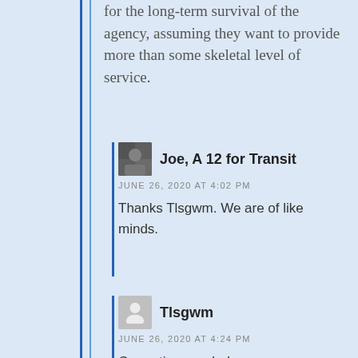for the long-term survival of the agency, assuming they want to provide more than some skeletal level of service.
Joe, A 12 for Transit
JUNE 26, 2020 AT 4:02 PM
Thanks Tlsgwm. We are of like minds.
Tlsgwm
JUNE 26, 2020 AT 4:24 PM
Correction needed: